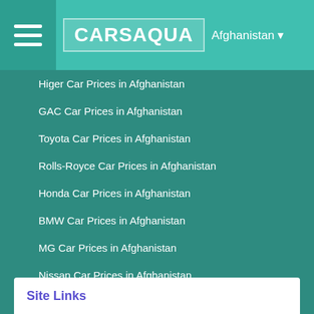CARSAQUA Afghanistan
Higer Car Prices in Afghanistan
GAC Car Prices in Afghanistan
Toyota Car Prices in Afghanistan
Rolls-Royce Car Prices in Afghanistan
Honda Car Prices in Afghanistan
BMW Car Prices in Afghanistan
MG Car Prices in Afghanistan
Nissan Car Prices in Afghanistan
Ferrari Car Prices in Afghanistan
Audi Car Prices in Afghanistan
Site Links